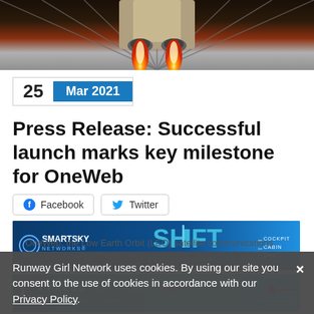[Figure (photo): Rocket launch photo showing rocket engines firing, view from below with structural elements visible]
25  Mar 2021
Press Release: Successful launch marks key milestone for OneWeb
[Figure (other): Facebook and Twitter share buttons]
[Figure (other): SmartSky Networks advertisement banner - SHIFT EXPECTATIONS with COCKPIT, CABIN, OPS labels]
[Figure (other): Press Release Hub advertisement banner]
Runway Girl Network uses cookies. By using our site you consent to the use of cookies in accordance with our Privacy Policy.
OneWeb, the Low Earth Orbit (LEO) satellite communications company, has confirmed the successful launch of all 36